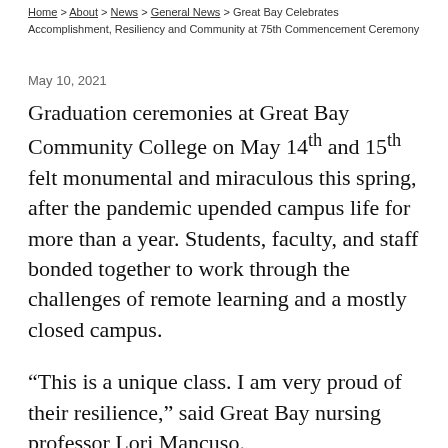Home > About > News > General News > Great Bay Celebrates Accomplishment, Resiliency and Community at 75th Commencement Ceremony
May 10, 2021
Graduation ceremonies at Great Bay Community College on May 14th and 15th felt monumental and miraculous this spring, after the pandemic upended campus life for more than a year. Students, faculty, and staff bonded together to work through the challenges of remote learning and a mostly closed campus.
“This is a unique class. I am very proud of their resilience,” said Great Bay nursing professor Lori Mancuso.
After the chaos of the past year, this year’s on-